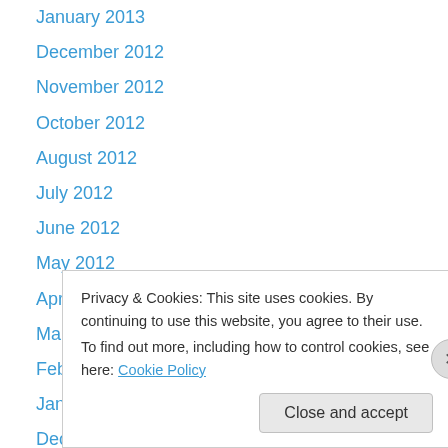January 2013
December 2012
November 2012
October 2012
August 2012
July 2012
June 2012
May 2012
April 2012
March 2012
February 2012
January 2012
December 2011
Privacy & Cookies: This site uses cookies. By continuing to use this website, you agree to their use.
To find out more, including how to control cookies, see here: Cookie Policy